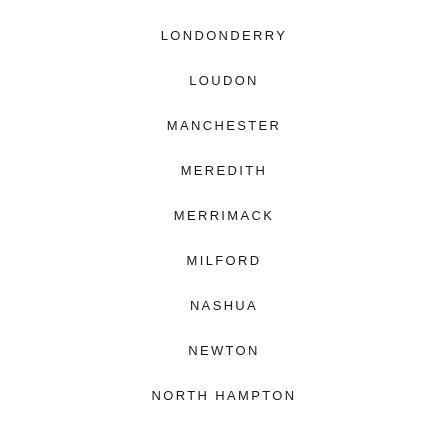LONDONDERRY
LOUDON
MANCHESTER
MEREDITH
MERRIMACK
MILFORD
NASHUA
NEWTON
NORTH HAMPTON